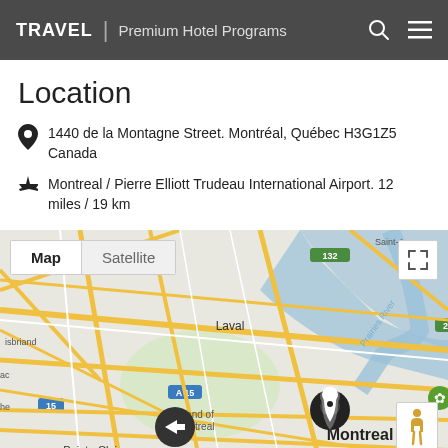TRAVEL | Premium Hotel Programs
Location
1440 de la Montagne Street. Montréal, Québec H3G1Z5 Canada
Montreal / Pierre Elliott Trudeau International Airport. 12 miles / 19 km
[Figure (map): Google Map showing Montreal area with pin marker on Montreal city center, tabs for Map/Satellite view, expand button, street view button. Shows neighborhoods: Laval, Montréal-Est, Boucherville, Sainte-Julie, Longueuil, Island of Montreal, Pointe-Claire. Highways: 132, 25, 15, A15, 138, 116, A-30. Prairie des Rivières River visible.]